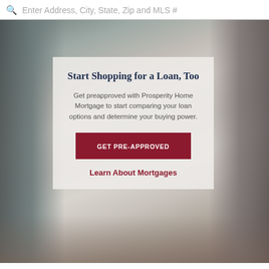Enter Address, City, State, Zip and MLS #
[Figure (photo): Couple sitting at a table reviewing mortgage or loan documents, man on left in gray suit, woman on right with dark hair, both looking down at papers]
Start Shopping for a Loan, Too
Get preapproved with Prosperity Home Mortgage to start comparing your loan options and determine your buying power.
GET PRE-APPROVED
Learn About Mortgages